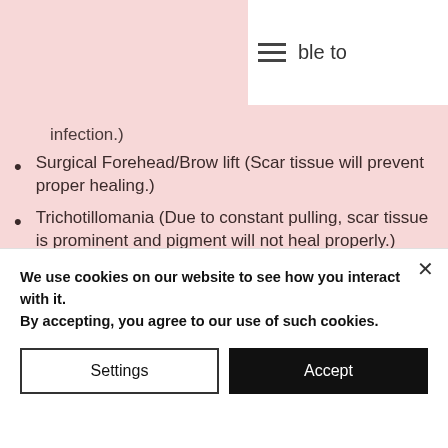ble to
infection.)
Surgical Forehead/Brow lift (Scar tissue will prevent proper healing.)
Trichotillomania (Due to constant pulling, scar tissue is prominent and pigment will not heal properly.)
Shingles (If you EVER had shingles on your face, permanent makeup will not be performed as the procedure could cause a flare up. NO
We use cookies on our website to see how you interact with it. By accepting, you agree to our use of such cookies.